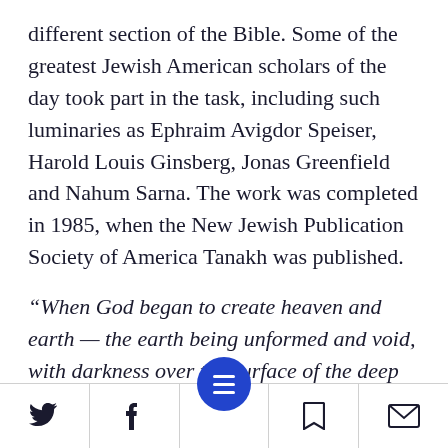different section of the Bible. Some of the greatest Jewish American scholars of the day took part in the task, including such luminaries as Ephraim Avigdor Speiser, Harold Louis Ginsberg, Jonas Greenfield and Nahum Sarna. The work was completed in 1985, when the New Jewish Publication Society of America Tanakh was published.
“When God began to create heaven and earth — the earth being unformed and void, with darkness over the surface of the deep and a wind from God sweeping over the water.” – New